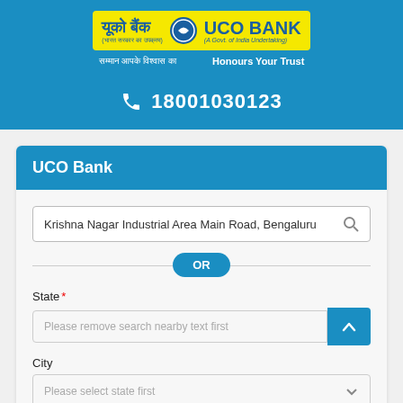[Figure (logo): UCO Bank logo with Hindi text and taglines]
18001030123
UCO Bank
Krishna Nagar Industrial Area Main Road, Bengaluru
OR
State *
Please remove search nearby text first
City
Please select state first